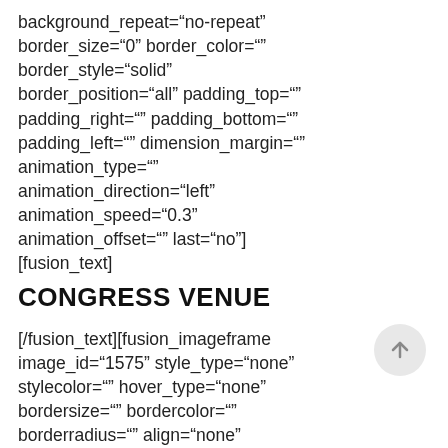background_repeat="no-repeat" border_size="0" border_color="" border_style="solid" border_position="all" padding_top="" padding_right="" padding_bottom="" padding_left="" dimension_margin="" animation_type="" animation_direction="left" animation_speed="0.3" animation_offset="" last="no"] [fusion_text]
CONGRESS VENUE
[/fusion_text][fusion_imageframe image_id="1575" style_type="none" stylecolor="" hover_type="none" bordersize="" bordercolor="" borderradius="" align="none" lightbox="no" gallery_id="" lightbox_image="" alt="" link="" linktarget="_self"